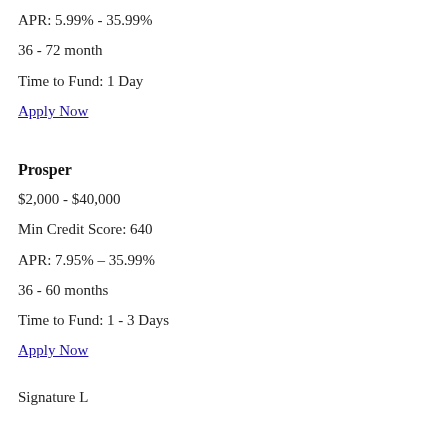APR: 5.99% - 35.99%
36 - 72 month
Time to Fund: 1 Day
Apply Now
Prosper
$2,000 - $40,000
Min Credit Score: 640
APR: 7.95% – 35.99%
36 - 60 months
Time to Fund: 1 - 3 Days
Apply Now
Signature L